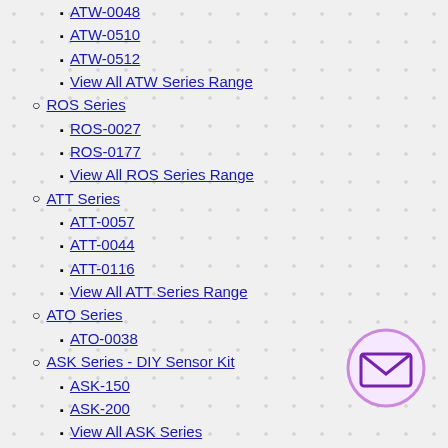ATW-0048
ATW-0510
ATW-0512
View All ATW Series Range
ROS Series
ROS-0027
ROS-0177
View All ROS Series Range
ATT Series
ATT-0057
ATT-0044
ATT-0116
View All ATT Series Range
ATO Series
ATO-0038
ASK Series - DIY Sensor Kit
ASK-150
ASK-200
View All ASK Series
Sensor Holders
Other Products
Washrooms/Wetrooms
Automatic Hand Dryers
Automatic Soap Dispensers
[Figure (illustration): Email/envelope icon inside a purple circle, bottom right corner]